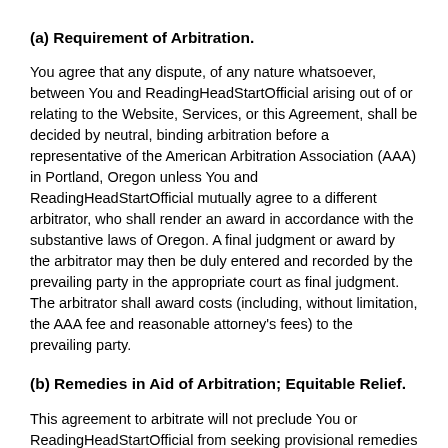(a) Requirement of Arbitration.
You agree that any dispute, of any nature whatsoever, between You and ReadingHeadStartOfficial arising out of or relating to the Website, Services, or this Agreement, shall be decided by neutral, binding arbitration before a representative of the American Arbitration Association (AAA) in Portland, Oregon unless You and ReadingHeadStartOfficial mutually agree to a different arbitrator, who shall render an award in accordance with the substantive laws of Oregon. A final judgment or award by the arbitrator may then be duly entered and recorded by the prevailing party in the appropriate court as final judgment. The arbitrator shall award costs (including, without limitation, the AAA fee and reasonable attorney's fees) to the prevailing party.
(b) Remedies in Aid of Arbitration; Equitable Relief.
This agreement to arbitrate will not preclude You or ReadingHeadStartOfficial from seeking provisional remedies in